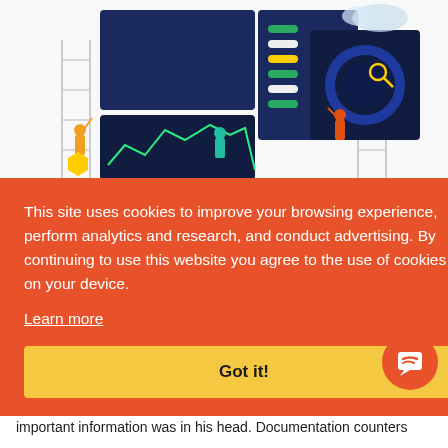[Figure (illustration): Tech/data infrastructure illustration showing people working with servers, screens, dashboards, and data panels against dark blue panels with a white background. Multiple workers are shown interacting with large display screens showing charts and controls.]
This site uses cookies to improve your browsing experience, perform analytics and research, and conduct advertising. By continuing to use this website you agree to the use of cookies on your device.
Learn more
Got it!
important information was in his head. Documentation counters